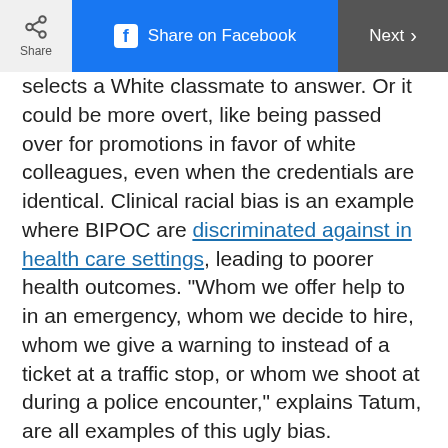Share | Share on Facebook | Next
selects a White classmate to answer. Or it could be more overt, like being passed over for promotions in favor of white colleagues, even when the credentials are identical. Clinical racial bias is an example where BIPOC are discriminated against in health care settings, leading to poorer health outcomes. "Whom we offer help to in an emergency, whom we decide to hire, whom we give a warning to instead of a ticket at a traffic stop, or whom we shoot at during a police encounter," explains Tatum, are all examples of this ugly bias.
What's the difference